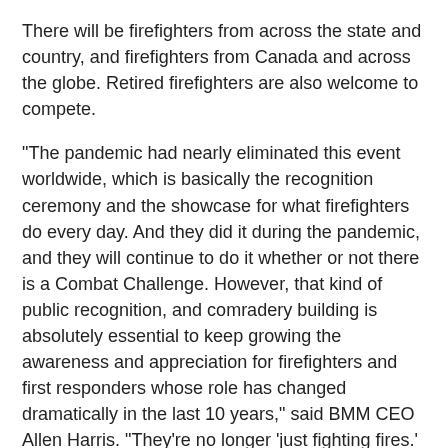There will be firefighters from across the state and country, and firefighters from Canada and across the globe. Retired firefighters are also welcome to compete.
"The pandemic had nearly eliminated this event worldwide, which is basically the recognition ceremony and the showcase for what firefighters do every day. And they did it during the pandemic, and they will continue to do it whether or not there is a Combat Challenge. However, that kind of public recognition, and comradery building is absolutely essential to keep growing the awareness and appreciation for firefighters and first responders whose role has changed dramatically in the last 10 years," said BMM CEO Allen Harris. "They're no longer 'just fighting fires.' They're mental health workers, wellness check-in folks, community liaisons, grief counselors. They're everything. BMM didn't want the event to lose steam, especially now. We want the Berkshires to be a fond stop for our local community as well as for firefighters from around the world."